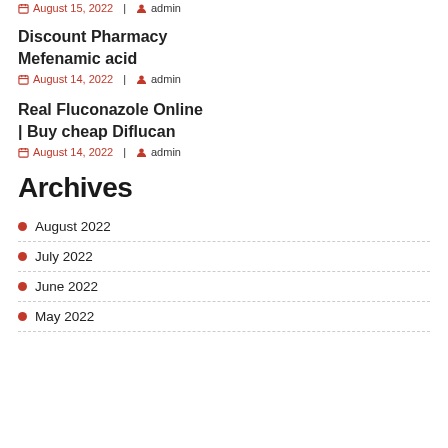August 15, 2022  |  admin
Discount Pharmacy Mefenamic acid
August 14, 2022  |  admin
Real Fluconazole Online | Buy cheap Diflucan
August 14, 2022  |  admin
Archives
August 2022
July 2022
June 2022
May 2022